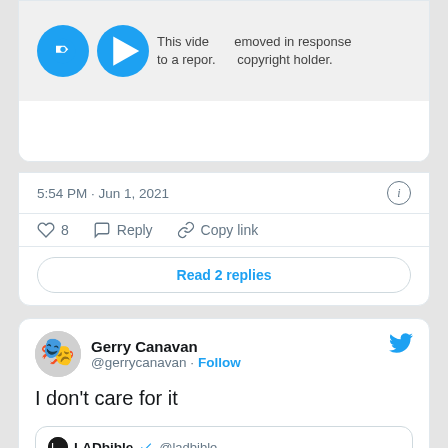[Figure (screenshot): Partial tweet card showing a video removed due to copyright, timestamp 5:54 PM · Jun 1, 2021, with like (8), reply, and copy link actions, and a Read 2 replies button]
5:54 PM · Jun 1, 2021
8  Reply  Copy link
Read 2 replies
Gerry Canavan @gerrycanavan · Follow
I don't care for it
LADbible @ladbible
What the actual f**k?!?
Luke Aikins here casually breaking the world record by